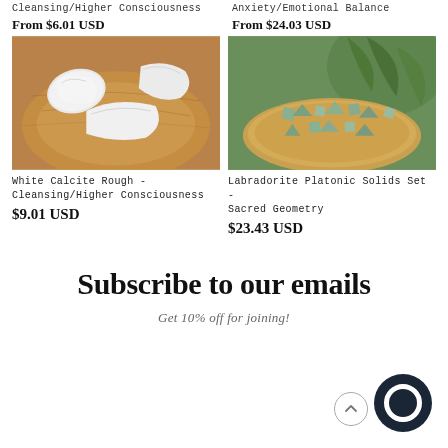Cleansing/Higher Consciousness
Anxiety/Emotional Balance
From $6.01 USD
From $24.03 USD
[Figure (photo): Three white calcite rough stones on a wooden bowl]
[Figure (photo): Labradorite platonic solids set arranged on a wooden tray with green plants in background]
White Calcite Rough - Cleansing/Higher Consciousness
Labradorite Platonic Solids Set - Sacred Geometry
$9.01 USD
$23.43 USD
Subscribe to our emails
Get 10% off for joining!